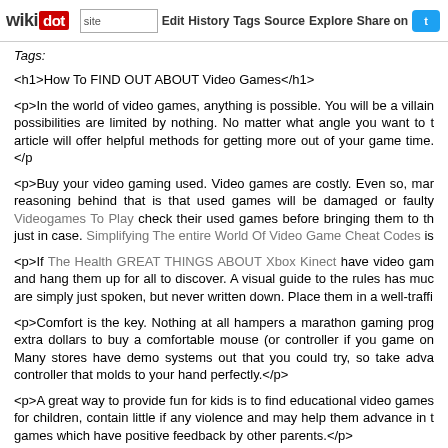wikidot | site | Edit | History | Tags | Source | Explore | Share on [Twitter]
Tags:
<h1>How To FIND OUT ABOUT Video Games</h1>
<p>In the world of video games, anything is possible. You will be a villain possibilities are limited by nothing. No matter what angle you want to t article will offer helpful methods for getting more out of your game time.</p>
<p>Buy your video gaming used. Video games are costly. Even so, mar reasoning behind that is that used games will be damaged or faulty Videogames To Play check their used games before bringing them to th just in case. Simplifying The entire World Of Video Game Cheat Codes is
<p>If The Health GREAT THINGS ABOUT Xbox Kinect have video gam and hang them up for all to discover. A visual guide to the rules has muc are simply just spoken, but never written down. Place them in a well-traffi
<p>Comfort is the key. Nothing at all hampers a marathon gaming prog extra dollars to buy a comfortable mouse (or controller if you game on Many stores have demo systems out that you could try, so take adva controller that molds to your hand perfectly.</p>
<p>A great way to provide fun for kids is to find educational video games for children, contain little if any violence and may help them advance in t games which have positive feedback by other parents.</p>
[[image IWOiYY4T0U8/Uuzeisc1YPI/AAAAAAAAJU/9g4xnKHDgEg/s1600/CBee